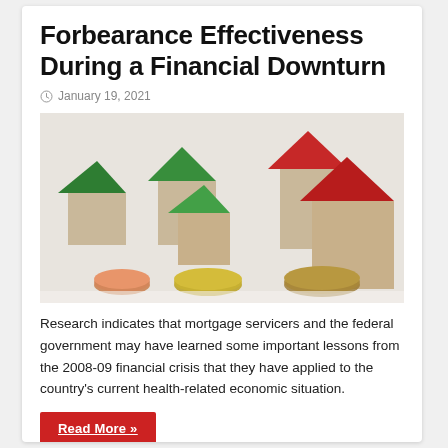Forbearance Effectiveness During a Financial Downturn
January 19, 2021
[Figure (photo): Wooden toy houses with green and red roofs arranged in a row, with coins in the foreground, representing real estate and financial concepts.]
Research indicates that mortgage servicers and the federal government may have learned some important lessons from the 2008-09 financial crisis that they have applied to the country's current health-related economic situation.
Read More »